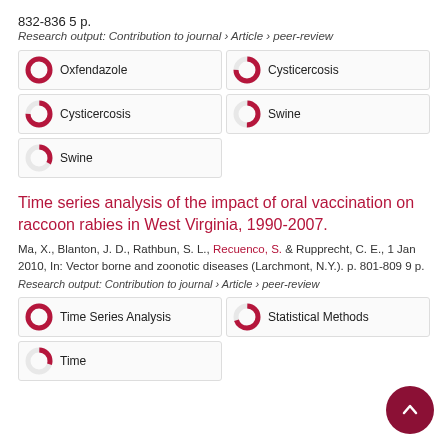832-836 5 p.
Research output: Contribution to journal › Article › peer-review
[Figure (infographic): Six keyword badge boxes arranged in a 2-column grid with donut/pie icons showing percentage fill. Row 1: Oxfendazole (100%), Cysticercosis (75%). Row 2: Cysticercosis (75%), Swine (50%). Row 3: Swine (33%).]
Time series analysis of the impact of oral vaccination on raccoon rabies in West Virginia, 1990-2007.
Ma, X., Blanton, J. D., Rathbun, S. L., Recuenco, S. & Rupprecht, C. E., 1 Jan 2010, In: Vector borne and zoonotic diseases (Larchmont, N.Y.). p. 801-809 9 p.
Research output: Contribution to journal › Article › peer-review
[Figure (infographic): Three keyword badge boxes: Time Series Analysis (100%), Statistical Methods (70%), Time (30%).]